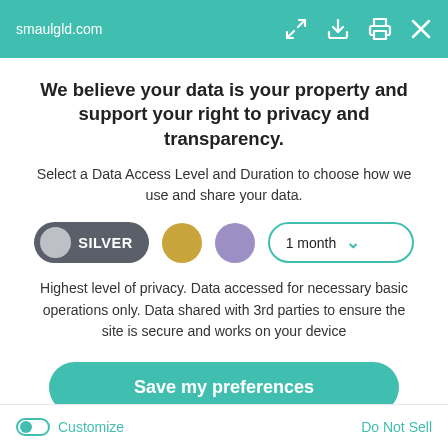smaulgld.com
We believe your data is your property and support your right to privacy and transparency.
Select a Data Access Level and Duration to choose how we use and share your data.
[Figure (infographic): Data access level selector showing SILVER (selected, dark gray pill button with gray circle), GOLD (yellow circle), PURPLE (purple circle) options, and a '1 month' dropdown selector with teal border and chevron]
Highest level of privacy. Data accessed for necessary basic operations only. Data shared with 3rd parties to ensure the site is secure and works on your device
Save my preferences
Customize   Do Not Sell